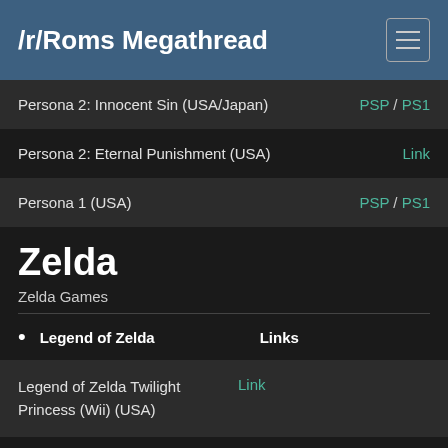/r/Roms Megathread
| Game | Links |
| --- | --- |
| Persona 2: Innocent Sin (USA/Japan) | PSP / PS1 |
| Persona 2: Eternal Punishment (USA) | Link |
| Persona 1 (USA) | PSP / PS1 |
Zelda
Zelda Games
| Legend of Zelda | Links |
| --- | --- |
| Legend of Zelda Twilight Princess (Wii) (USA) | Link |
| Legend of Zelda | Link |